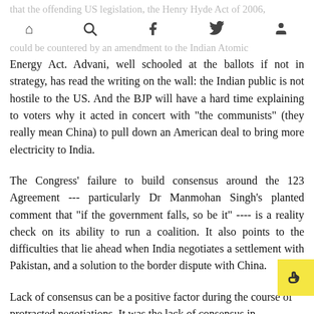that the offending US legislation, the Henry Hyde Act of 2006, could be countered by an amendment to the Indian Atomic
Energy Act. Advani, well schooled at the ballots if not in strategy, has read the writing on the wall: the Indian public is not hostile to the US. And the BJP will have a hard time explaining to voters why it acted in concert with "the communists" (they really mean China) to pull down an American deal to bring more electricity to India.
The Congress' failure to build consensus around the 123 Agreement --- particularly Dr Manmohan Singh's planted comment that "if the government falls, so be it" ---- is a reality check on its ability to run a coalition. It also points to the difficulties that lie ahead when India negotiates a settlement with Pakistan, and a solution to the border dispute with China.
Lack of consensus can be a positive factor during the course of protracted negotiations. It was the lack of consensus in